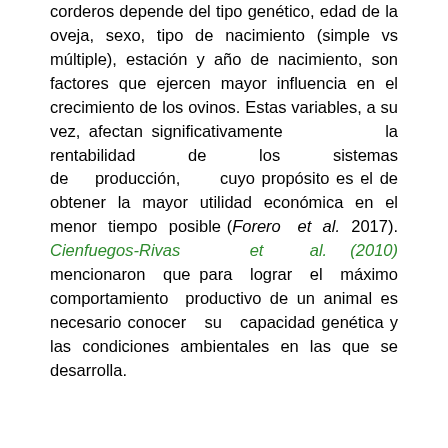corderos depende del tipo genético, edad de la oveja, sexo, tipo de nacimiento (simple vs múltiple), estación y año de nacimiento, son factores que ejercen mayor influencia en el crecimiento de los ovinos. Estas variables, a su vez, afectan significativamente la rentabilidad de los sistemas de producción, cuyo propósito es el de obtener la mayor utilidad económica en el menor tiempo posible (Forero et al. 2017). Cienfuegos-Rivas et al. (2010) mencionaron que para lograr el máximo comportamiento productivo de un animal es necesario conocer su capacidad genética y las condiciones ambientales en las que se desarrolla.